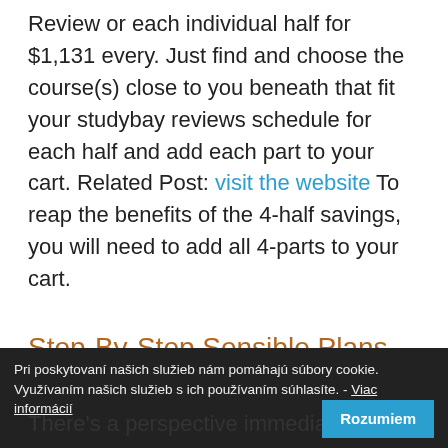Review or each individual half for $1,131 every. Just find and choose the course(s) close to you beneath that fit your studybay reviews schedule for each half and add each part to your cart. Related Post: visit the website To reap the benefits of the 4-half savings, you will need to add all 4-parts to your cart.
Step-By-Step Sensible Plans For study bay reviewingwriting
There's a perspective immediately,
Pri poskytovaní našich služieb nám pomáhajú súbory cookie. Využívaním našich služieb s ich používaním súhlasíte. - Viac informácií